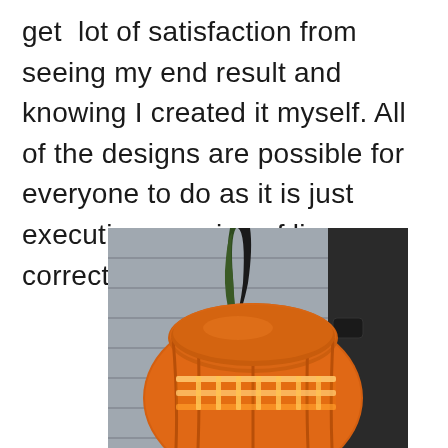get  lot of satisfaction from seeing my end result and knowing I created it myself. All of the designs are possible for everyone to do as it is just executing a series of lines correctly.
[Figure (photo): A carved pumpkin photographed from above and slightly to the side, showing a tall green stem and orange body with carved line patterns illuminated from within, set against a grey wall and dark background.]